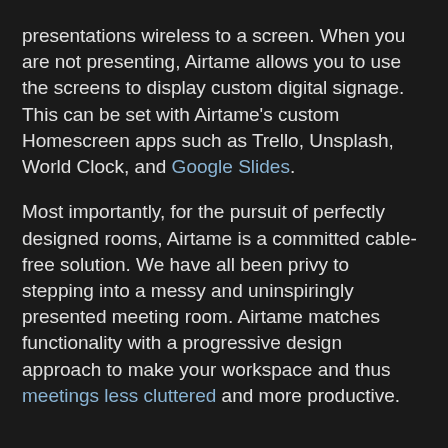presentations wireless to a screen. When you are not presenting, Airtame allows you to use the screens to display custom digital signage. This can be set with Airtame's custom Homescreen apps such as Trello, Unsplash, World Clock, and Google Slides.
Most importantly, for the pursuit of perfectly designed rooms, Airtame is a committed cable-free solution. We have all been privy to stepping into a messy and uninspiringly presented meeting room. Airtame matches functionality with a progressive design approach to make your workspace and thus meetings less cluttered and more productive.
I hope you enjoyed this blog post about how to have design-conscious business meetings with Airtame wireless technology.